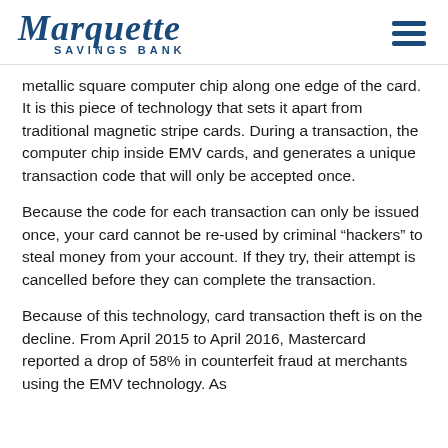Marquette SAVINGS BANK
metallic square computer chip along one edge of the card. It is this piece of technology that sets it apart from traditional magnetic stripe cards. During a transaction, the computer chip inside EMV cards, and generates a unique transaction code that will only be accepted once.
Because the code for each transaction can only be issued once, your card cannot be re-used by criminal “hackers” to steal money from your account. If they try, their attempt is cancelled before they can complete the transaction.
Because of this technology, card transaction theft is on the decline. From April 2015 to April 2016, Mastercard reported a drop of 58% in counterfeit fraud at merchants using the EMV technology. As